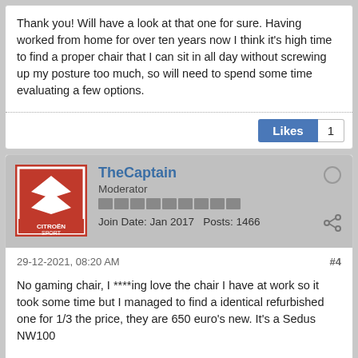Thank you! Will have a look at that one for sure. Having worked from home for over ten years now I think it's high time to find a proper chair that I can sit in all day without screwing up my posture too much, so will need to spend some time evaluating a few options.
Likes 1
TheCaptain
Moderator
Join Date: Jan 2017   Posts: 1466
29-12-2021, 08:20 AM
#4
No gaming chair, I ****ing love the chair I have at work so it took some time but I managed to find a identical refurbished one for 1/3 the price, they are 650 euro's new. It's a Sedus NW100
Last edited by TheCaptain; 29-12-2021, 08:25 AM.
Kaktus